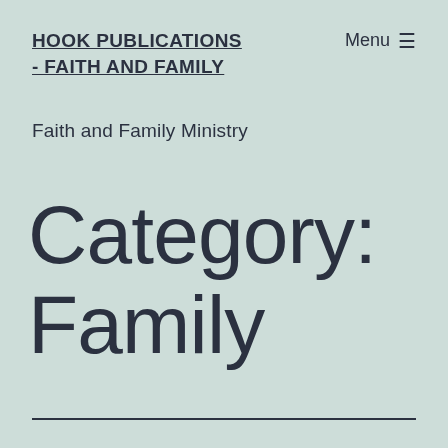HOOK PUBLICATIONS - FAITH AND FAMILY
Faith and Family Ministry
Menu ☰
Category: Family